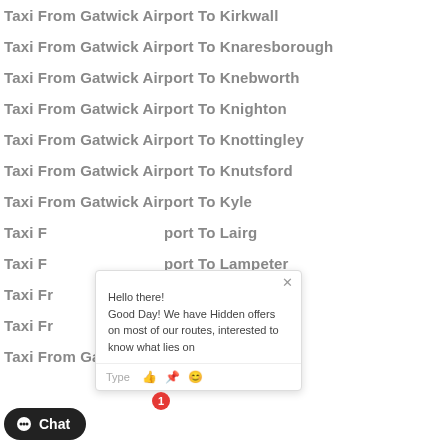Taxi From Gatwick Airport To Kirkwall
Taxi From Gatwick Airport To Knaresborough
Taxi From Gatwick Airport To Knebworth
Taxi From Gatwick Airport To Knighton
Taxi From Gatwick Airport To Knottingley
Taxi From Gatwick Airport To Knutsford
Taxi From Gatwick Airport To Kyle
Taxi From Gatwick Airport To Lairg
Taxi From Gatwick Airport To Lampeter
Taxi From Gatwick Airport To Lanark
Taxi From Gatwick Airport To Lancaster
Taxi From Gatwick Airport To Lancing